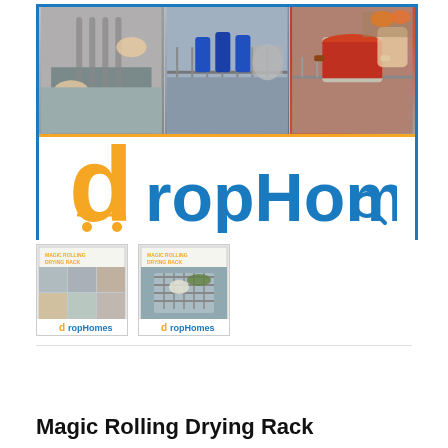[Figure (photo): Main product banner image with three panels showing kitchen drying rack in use, plus DropHomes logo at bottom on white background with blue and orange border]
[Figure (photo): Thumbnail 1: Magic Rolling Drying Rack product image with DropHomes logo]
[Figure (photo): Thumbnail 2: Magic Rolling Drying Rack in use over sink with DropHomes logo]
Magic Rolling Drying Rack